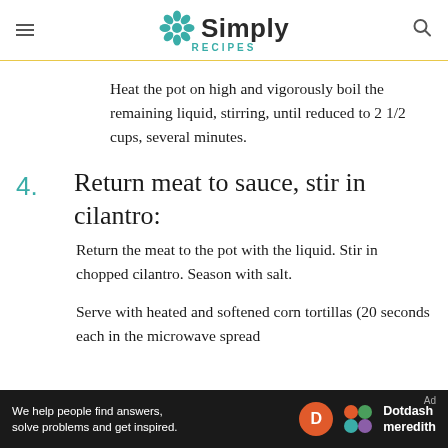Simply Recipes
Heat the pot on high and vigorously boil the remaining liquid, stirring, until reduced to 2 1/2 cups, several minutes.
4. Return meat to sauce, stir in cilantro:
Return the meat to the pot with the liquid. Stir in chopped cilantro. Season with salt.
Serve with heated and softened corn tortillas (20 seconds each in the microwave spread
Ad — We help people find answers, solve problems and get inspired. Dotdash meredith